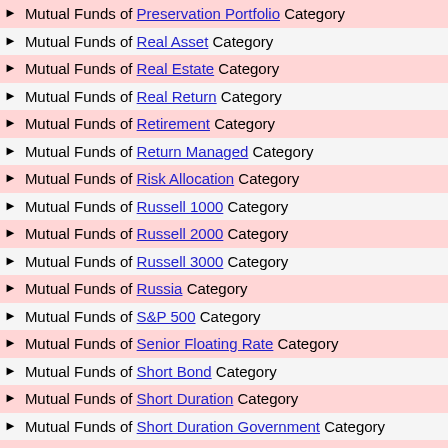Mutual Funds of Preservation Portfolio Category
Mutual Funds of Real Asset Category
Mutual Funds of Real Estate Category
Mutual Funds of Real Return Category
Mutual Funds of Retirement Category
Mutual Funds of Return Managed Category
Mutual Funds of Risk Allocation Category
Mutual Funds of Russell 1000 Category
Mutual Funds of Russell 2000 Category
Mutual Funds of Russell 3000 Category
Mutual Funds of Russia Category
Mutual Funds of S&P 500 Category
Mutual Funds of Senior Floating Rate Category
Mutual Funds of Short Bond Category
Mutual Funds of Short Duration Category
Mutual Funds of Short Duration Government Category
Mutual Funds of Short Term Bond Category
Mutual Funds of Small Blend Category